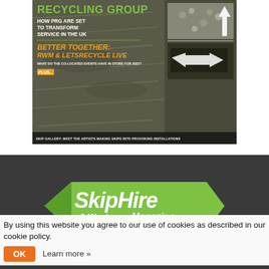[Figure (illustration): Magazine cover of a recycling publication showing 'RECYCLING GROUP - HOW PRG ARE SET TO TRANSFORM SERVICE IN THE UK', 'BETTER TOGETHER: RWM & LETSRECYCLE LIVE - WHAT DO THE CO-LOCATED EVENTS HAVE IN STORE FOR 2022?', 'PLUS...', 'SKIP GALLERY: MEET THE ARTISTS MAKING SKIPS INTO PROVOKING INSTALLATIONS'. Features images of recycled materials and skip waste.]
[Figure (logo): SkipHire & Waste Magazine logo on dark background - diamond/chevron shaped green logo with white bold italic text 'SkipHire' and '& Waste Magazine']
By using this website you agree to our use of cookies as described in our cookie policy.
OK   Learn more »